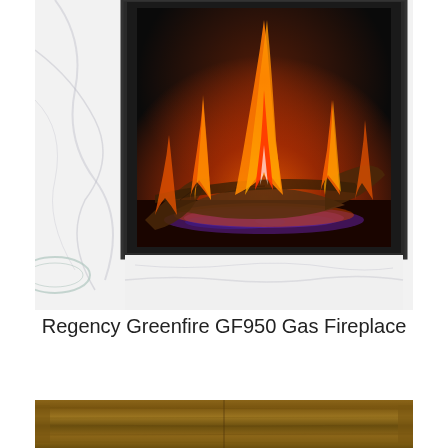[Figure (photo): Photo of a Regency Greenfire GF950 gas fireplace installed in a white marble wall surround, showing flames and logs burning inside a black-framed firebox. A glass bowl is partially visible in the lower left.]
Regency Greenfire GF950 Gas Fireplace
[Figure (photo): Partial photo showing a dark wood surface, likely a TV stand or media console, cropped at the bottom of the page.]